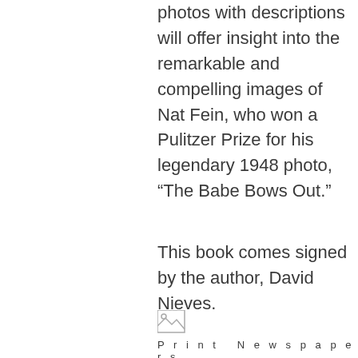photos with descriptions will offer insight into the remarkable and compelling images of Nat Fein, who won a Pulitzer Prize for his legendary 1948 photo, “The Babe Bows Out.”
This book comes signed by the author, David Nieves.
[Figure (other): Small broken/placeholder image icon]
Print Newspapers